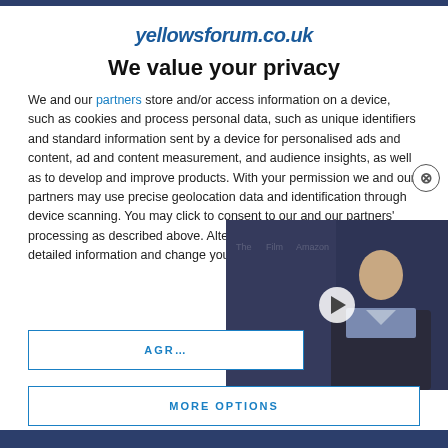yellowsforum.co.uk
We value your privacy
We and our partners store and/or access information on a device, such as cookies and process personal data, such as unique identifiers and standard information sent by a device for personalised ads and content, ad and content measurement, and audience insights, as well as to develop and improve products. With your permission we and our partners may use precise geolocation data and identification through device scanning. You may click to consent to our and our partners' processing as described above. Alternatively you may access more detailed information and change your preferences before consenting…
[Figure (screenshot): Video thumbnail showing a man in a dark suit with a play button overlay, against a branded backdrop with logos]
AGREE
MORE OPTIONS